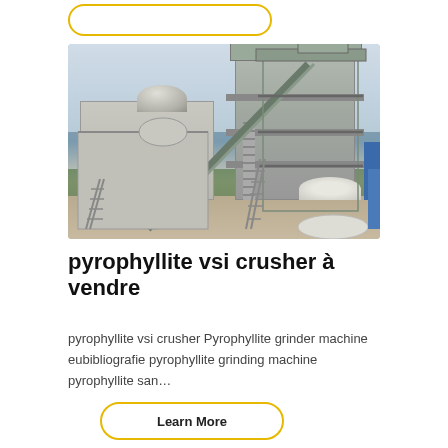[Figure (photo): Industrial asphalt mixing plant / construction machinery with tall tower structure, conveyor belt, processing equipment building on the left, and materials on the ground. Overcast sky with trees in background.]
pyrophyllite vsi crusher à vendre
pyrophyllite vsi crusher Pyrophyllite grinder machine eubibliografie pyrophyllite grinding machine pyrophyllite san…
Learn More